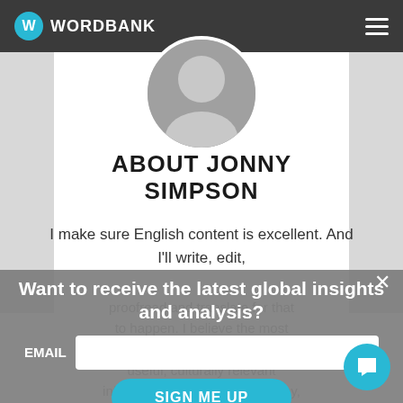WORDBANK
[Figure (photo): Circular profile photo of Jonny Simpson, grayscale, man in shirt]
ABOUT JONNY SIMPSON
I make sure English content is excellent. And I'll write, edit, proofread and translate for that to happen. I believe the most impactful content combines useful, culturally relevant information with compelling copy, and I've seen great results with Ermenegil... Maserati.
Want to receive the latest global insights and analysis?
EMAIL
SIGN ME UP